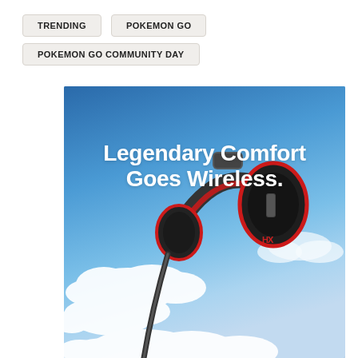TRENDING
POKEMON GO
POKEMON GO COMMUNITY DAY
[Figure (photo): Advertisement banner with blue sky and clouds background featuring a black and red HyperX wireless gaming headset. Text reads 'Legendary Comfort Goes Wireless.']